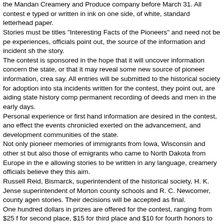The contest extends only during March, it is pointed out, and all entries sho the Mandan Creamery and Produce company before March 31. All contest e typed or written in ink on one side, of white, standard letterhead paper. Stories must be titles "Interesting Facts of the Pioneers" and need not be pe experiences, officials point out, the source of the information and incident sh the story.
The contest is sponsored in the hope that it will uncover information concern the state, or that it may reveal some new source of pioneer information, crea say. All entries will be submitted to the historical society for adoption into sta incidents written for the contest, they point out, are aiding state history comp permanent recording of deeds and men in the early days.
Personal experience or first hand information are desired in the contest, ano effect the events chronicled exerted on the advancement, and development communities of the state.
Not only pioneer memories of immigrants from Iowa, Wisconsin and other s but also those of emigrants who came to North Dakota from Europe in the e allowing stories to be written in any language, creamery officials believe the this aim.
Russell Reid, Bismarck, superintendent of the historical society, H. K. Jense superintendent of Morton county schools and R. C. Newcomer, county agen stories. Their decisions will be accepted as final.
One hundred dollars in prizes are offered for the contest, ranging from $25 f for second place, $15 for third place and $10 for fourth honors to six prizes o places from fifth to tenth.
Contest announcements and progress will be included in the creamery "Old from 8:15 p.m. to 8:45 p.m. (M.S.T.) every evening on KGCU."
W. S. Bates of Bismarck won first prize for his story about his experience wo Northwestern Stage Express which operated between Fort Lincoln and the R 1877.